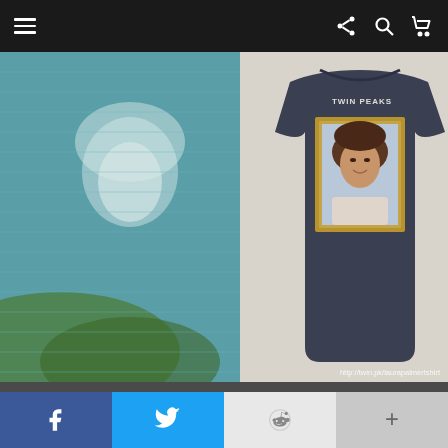Navigation bar with menu, share, search, and cart icons
[Figure (photo): Composite image: left side shows a washed-out TV still of a blonde woman outdoors (Twin Peaks scene), right side shows a dark navy Twin Peaks t-shirt with a framed portrait photo of Laura Palmer printed on the front. URL watermark: http://twin.pk/laurapalmertshirt]
Nothing says 'I love Twin Peaks' quite like wearing Laura Palmer on your body!
Social share bar: Facebook, Twitter, Reddit, More (+)